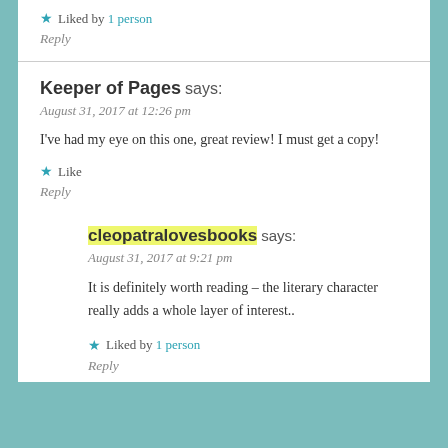★ Liked by 1 person
Reply
Keeper of Pages says:
August 31, 2017 at 12:26 pm
I've had my eye on this one, great review! I must get a copy!
★ Like
Reply
cleopatralovesbooks says:
August 31, 2017 at 9:21 pm
It is definitely worth reading – the literary character really adds a whole layer of interest..
★ Liked by 1 person
Reply